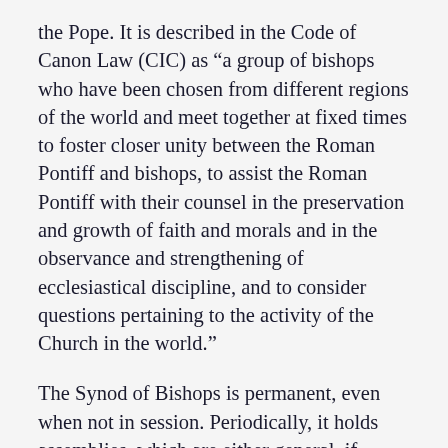the Pope. It is described in the Code of Canon Law (CIC) as “a group of bishops who have been chosen from different regions of the world and meet together at fixed times to foster closer unity between the Roman Pontiff and bishops, to assist the Roman Pontiff with their counsel in the preservation and growth of faith and morals and in the observance and strengthening of ecclesiastical discipline, and to consider questions pertaining to the activity of the Church in the world.”
The Synod of Bishops is permanent, even when not in session. Periodically, it holds assemblies, which are either general, if called to consider matters directly concerning the universal Church, or special, if called for problems of a particular geographical area. The general